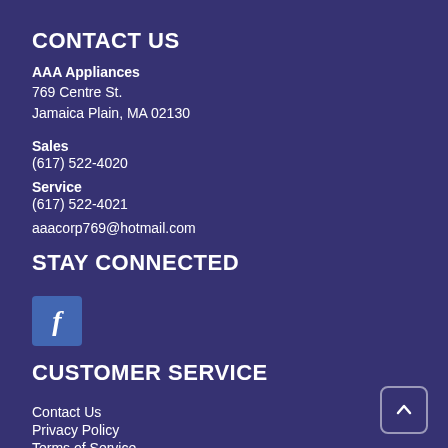CONTACT US
AAA Appliances
769 Centre St.
Jamaica Plain, MA 02130
Sales
(617) 522-4020
Service
(617) 522-4021
aaacorp769@hotmail.com
STAY CONNECTED
[Figure (logo): Facebook icon — blue square with white letter f]
CUSTOMER SERVICE
Contact Us
Privacy Policy
Terms of Service